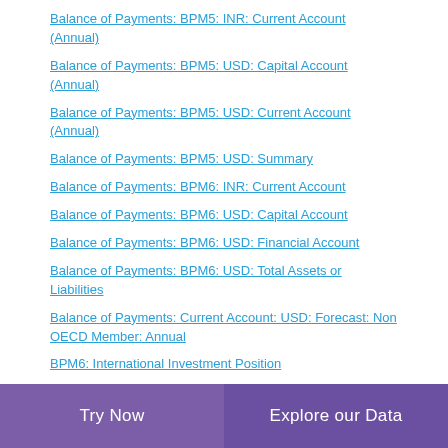Balance of Payments: BPM5: INR: Current Account (Annual)
Balance of Payments: BPM5: USD: Capital Account (Annual)
Balance of Payments: BPM5: USD: Current Account (Annual)
Balance of Payments: BPM5: USD: Summary
Balance of Payments: BPM6: INR: Current Account
Balance of Payments: BPM6: USD: Capital Account
Balance of Payments: BPM6: USD: Financial Account
Balance of Payments: BPM6: USD: Total Assets or Liabilities
Balance of Payments: Current Account: USD: Forecast: Non OECD Member: Annual
BPM6: International Investment Position
Central Public Sector Enterprises (CPSEs): Disinvestment
Central Public Sector Enterprises (CPSEs): Performance
External Debt: INR (Annual)
Try Now | Explore our Data